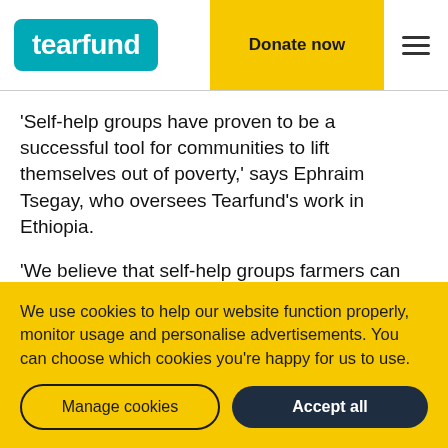tearfund | Donate now
'Self-help groups have proven to be a successful tool for communities to lift themselves out of poverty,' says Ephraim Tsegay, who oversees Tearfund's work in Ethiopia.
'We believe that self-help groups farmers can become key actors in their local economy. We
We use cookies to help our website function properly, monitor usage and personalise advertisements. You can choose which cookies you're happy for us to use.
Manage cookies | Accept all